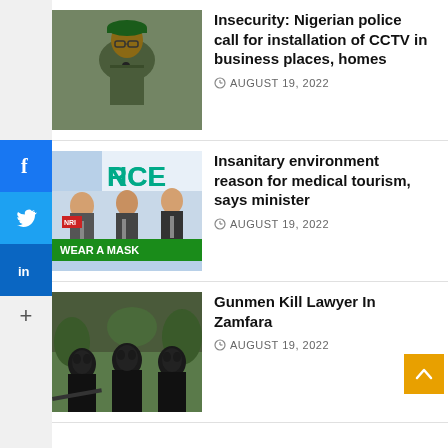[Figure (photo): Nigerian police officer in green beret and uniform sitting at a desk with a microphone]
Insecurity: Nigerian police call for installation of CCTV in business places, homes
AUGUST 19, 2022
[Figure (photo): Press conference with WEAR A MASK sign at podium, multiple microphones and journalists visible]
Insanitary environment reason for medical tourism, says minister
AUGUST 19, 2022
[Figure (photo): Three masked gunmen dressed in black standing outdoors]
Gunmen Kill Lawyer In Zamfara
AUGUST 19, 2022